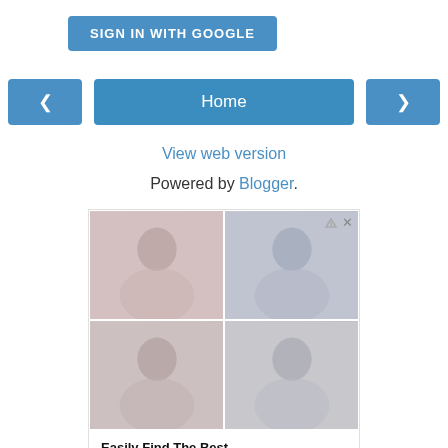[Figure (screenshot): Sign in with Google button (blue)]
[Figure (screenshot): Navigation row with left arrow, Home button, and right arrow (all blue)]
View web version
Powered by Blogger.
[Figure (screenshot): Advertisement: grid of 4 images showing people in video call, with title 'Easily Find The Best Collaboration Platforms For Teams', subtitle 'Team Collaboration Tools', and purple arrow button]